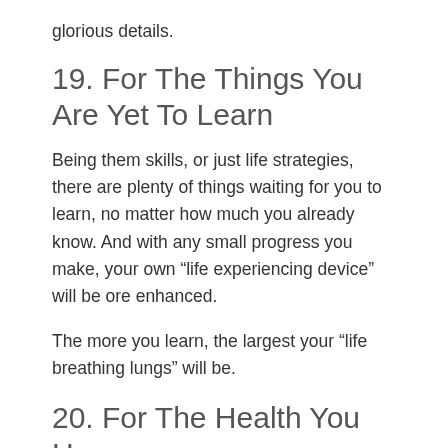glorious details.
19. For The Things You Are Yet To Learn
Being them skills, or just life strategies, there are plenty of things waiting for you to learn, no matter how much you already know. And with any small progress you make, your own “life experiencing device” will be ore enhanced.
The more you learn, the largest your “life breathing lungs” will be.
20. For The Health You Have
We are decaying creatures, operating on faulty